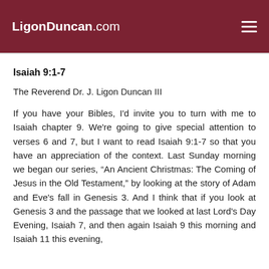LigonDuncan.com
Isaiah 9:1-7
The Reverend Dr. J. Ligon Duncan III
If you have your Bibles, I'd invite you to turn with me to Isaiah chapter 9. We're going to give special attention to verses 6 and 7, but I want to read Isaiah 9:1-7 so that you have an appreciation of the context. Last Sunday morning we began our series, “An Ancient Christmas: The Coming of Jesus in the Old Testament,” by looking at the story of Adam and Eve's fall in Genesis 3. And I think that if you look at Genesis 3 and the passage that we looked at last Lord's Day Evening, Isaiah 7, and then again Isaiah 9 this morning and Isaiah 11 this evening,